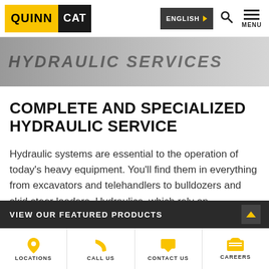[Figure (logo): Quinn CAT logo — yellow QUINN block followed by black CAT block]
[Figure (screenshot): Navigation bar with ENGLISH language selector, search icon, and MENU icon]
HYDRAULIC SERVICES
COMPLETE AND SPECIALIZED HYDRAULIC SERVICE
Hydraulic systems are essential to the operation of today's heavy equipment. You'll find them in everything from excavators and telehandlers to bulldozers and skid steer loaders. Hydraulics, which rely on pressurized fluid — typically oil — to generate
VIEW OUR FEATURED PRODUCTS
LOCATIONS | CALL US | CONTACT US | CAREERS